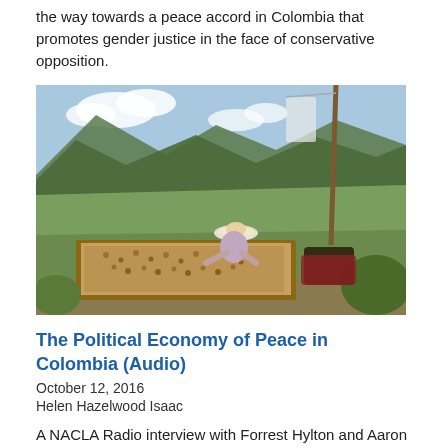the way towards a peace accord in Colombia that promotes gender justice in the face of conservative opposition.
[Figure (photo): A woman in a wide-brimmed hat sorts coffee beans on a wooden drying table on a hillside in Colombia, with lush green mountains in the background.]
The Political Economy of Peace in Colombia (Audio)
October 12, 2016
Helen Hazelwood Isaac
A NACLA Radio interview with Forrest Hylton and Aaron Tauss about their article “Peace in Colombia: A New Growth Strategy,” featured in the latest NACLA Report, Free Trade 2.0, and the latest developments in the peace process.